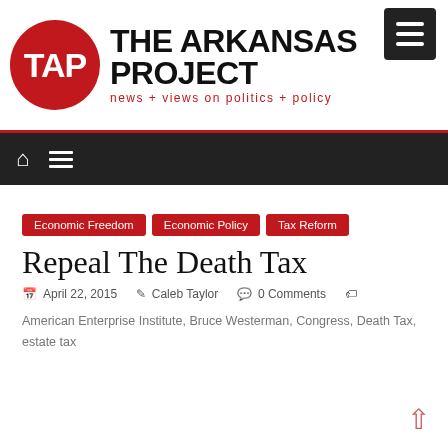[Figure (logo): The Arkansas Project logo: red circle with TAP text, next to bold uppercase THE ARKANSAS PROJECT and subtitle 'news + views on politics + policy' in red]
Navigation bar with home icon and menu icon
Economic Freedom
Economic Policy
Tax Reform
Repeal The Death Tax
April 22, 2015  Caleb Taylor  0 Comments
American Enterprise Institute, Bruce Westerman, Congress, Death Tax, estate tax